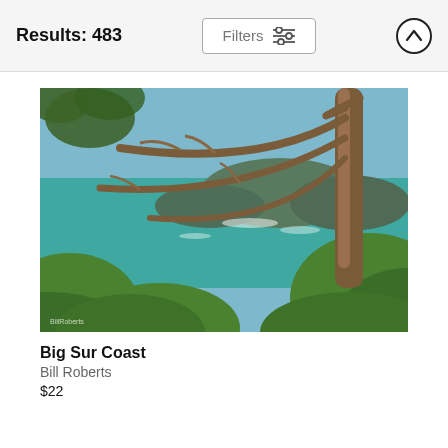Results: 483
[Figure (photo): A coastal landscape photo of Big Sur Coast showing tall cypress trees in the foreground framing a view of turquoise ocean water with rocky cliffs and green vegetation]
Big Sur Coast
Bill Roberts
$22